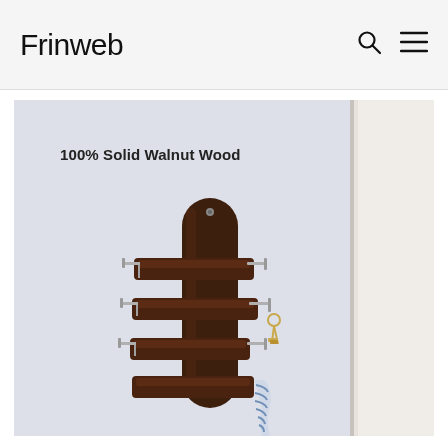Frinweb
[Figure (photo): Wall-mounted 100% Solid Walnut Wood coat rack with horizontal wooden slats and metal hooks, with keys hanging and a striped garment on one hook, mounted on a white wall next to a door frame.]
100% Solid Walnut Wood